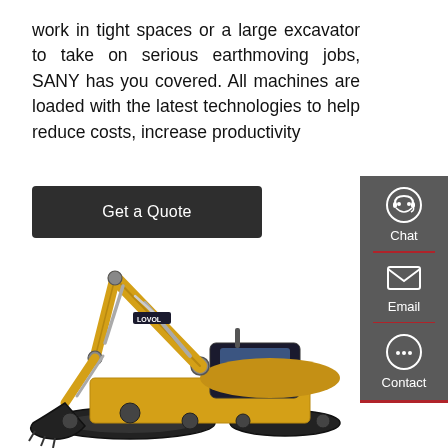work in tight spaces or a large excavator to take on serious earthmoving jobs, SANY has you covered. All machines are loaded with the latest technologies to help reduce costs, increase productivity
[Figure (other): Dark button with white text reading 'Get a Quote']
[Figure (other): Dark grey sidebar with Chat (headset icon), Email (envelope icon), and Contact (speech bubble icon) options separated by red dividers]
[Figure (photo): Yellow LOVOL branded large excavator/crawler excavator on white background, showing full side view with boom, arm, bucket, and tracked undercarriage]